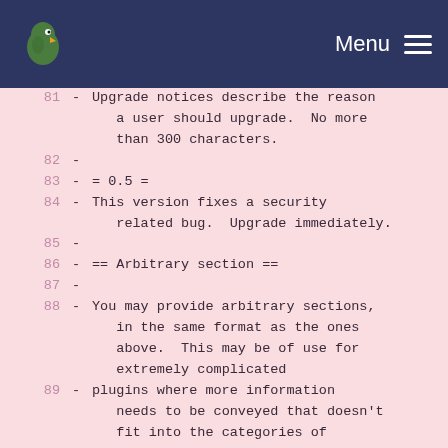Menu
81  - Upgrade notices describe the reason a user should upgrade.  No more than 300 characters.
82  -
83  - = 0.5 =
84  - This version fixes a security related bug.  Upgrade immediately.
85  -
86  - == Arbitrary section ==
87  -
88  - You may provide arbitrary sections, in the same format as the ones above.  This may be of use for extremely complicated
89  - plugins where more information needs to be conveyed that doesn't fit into the categories of "description" or
90  - "installation."  Arbitrary sections will be shown below the built-in